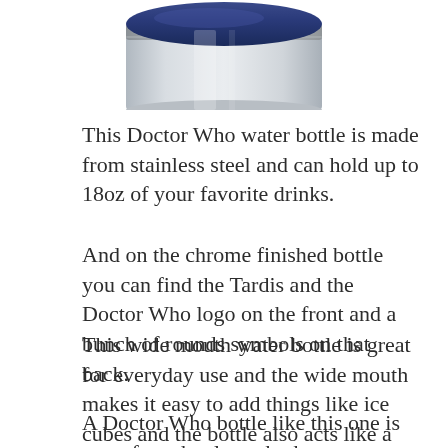[Figure (photo): Bottom portion of a stainless steel/chrome water bottle with a blue-accented cap, shown from above at a slight angle, against a white background.]
This Doctor Who water bottle is made from stainless steel and can hold up to 18oz of your favorite drinks.
And on the chrome finished bottle you can find the Tardis and the Doctor Who logo on the front and a bunch of rounds symbols on that back.
This wide mouth water bottle is great for everyday use and the wide mouth makes it easy to add things like ice cubes and the bottle also acts like a thermos and that means that your drinks can stay hot or cold for up to 6 hours.
A Doctor Who bottle like this one is great for school, work, the gym or anywhere else you are going and